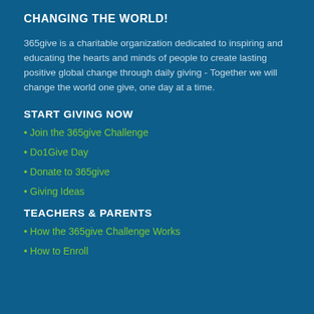CHANGING THE WORLD!
365give is a charitable organization dedicated to inspiring and educating the hearts and minds of people to create lasting positive global change through daily giving - Together we will change the world one give, one day at a time.
START GIVING NOW
• Join the 365give Challenge
• Do1Give Day
• Donate to 365give
• Giving Ideas
TEACHERS & PARENTS
• How the 365give Challenge Works
• How to Enroll